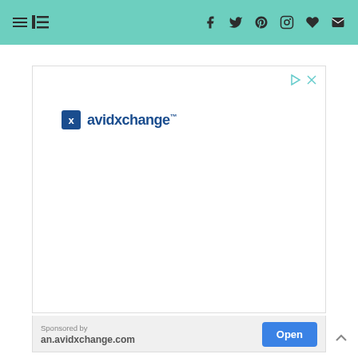Navigation bar with hamburger menu and social icons (Facebook, Twitter, Pinterest, Instagram, Favorites, Email) on teal background
[Figure (screenshot): AvidXchange advertisement banner with logo showing a blue square icon with X and the text 'avidxchange' in dark blue. Ad controls (play and close) in top-right corner.]
Sponsored by
an.avidxchange.com
Open